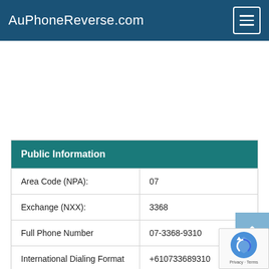AuPhoneReverse.com
| Public Information |  |
| --- | --- |
| Area Code (NPA): | 07 |
| Exchange (NXX): | 3368 |
| Full Phone Number | 07-3368-9310 |
| International Dialing Format | +610733689310 |
| National Format | (07) 3368-9310 |
| Country: | Australia |